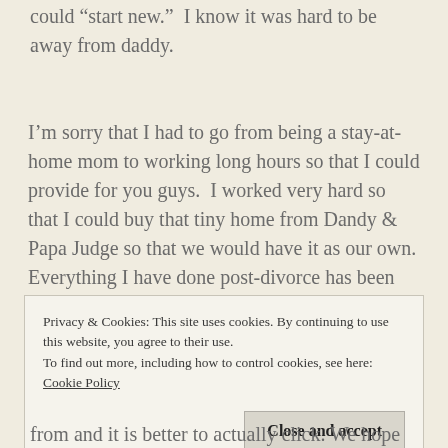could “start new.”  I know it was hard to be away from daddy.
I’m sorry that I had to go from being a stay-at-home mom to working long hours so that I could provide for you guys.  I worked very hard so that I could buy that tiny home from Dandy & Papa Judge so that we would have it as our own.  Everything I have done post-divorce has been for you.
Privacy & Cookies: This site uses cookies. By continuing to use this website, you agree to their use.
To find out more, including how to control cookies, see here:
Cookie Policy
from and it is better to actually click. We hope the readers